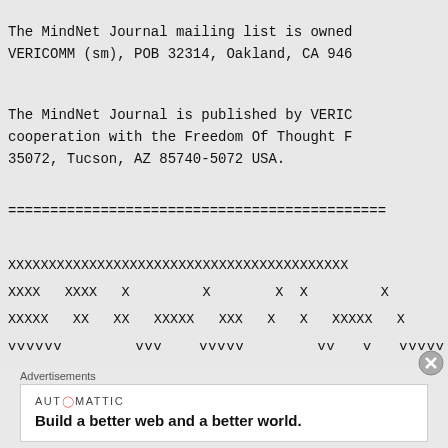The MindNet Journal mailing list is owned by VERICOMM (sm), POB 32314, Oakland, CA 946...
The MindNet Journal is published by VERICOMM in cooperation with the Freedom Of Thought F... 35072, Tucson, AZ 85740-5072 USA.
=============================================
XXXXXXXXXXXXXXXXXXXXXXXXXXXXXXXXXXXXXXXXXX
XXXX   XXXX   X         X         X  X         X
XXXXX    XX    XX   XXXXX   XXX   X   X   XXXXX   X
vvvvvv         vvv    vvvvv         vv   v   vvvvv
Advertisements
AUT○MATTIC
Build a better web and a better world.